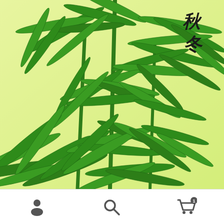[Figure (illustration): Chinese ink-style illustration of bamboo leaves and stems on a light yellow-green gradient background, with two Chinese calligraphy characters in the upper right corner]
[Figure (other): Mobile app navigation toolbar with three icons: a person/account icon on the left, a search/magnifying glass icon in the center, and a shopping cart icon with a badge showing '1' on the right]